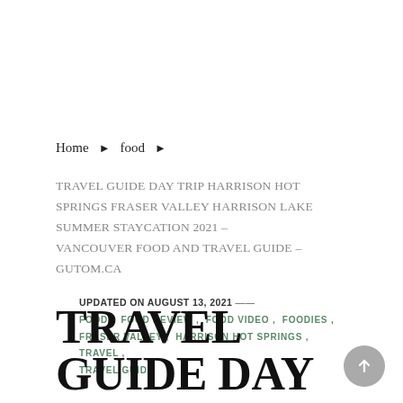Home > food >
TRAVEL GUIDE DAY TRIP HARRISON HOT SPRINGS FRASER VALLEY HARRISON LAKE SUMMER STAYCATION 2021 – VANCOUVER FOOD AND TRAVEL GUIDE – GUTOM.CA
UPDATED ON AUGUST 13, 2021 — FOOD , FOOD REVIEW , FOOD VIDEO , FOODIES , FRASER VALLEY , HARRISON HOT SPRINGS , TRAVEL , TRAVEL GUIDE
TRAVEL GUIDE DAY